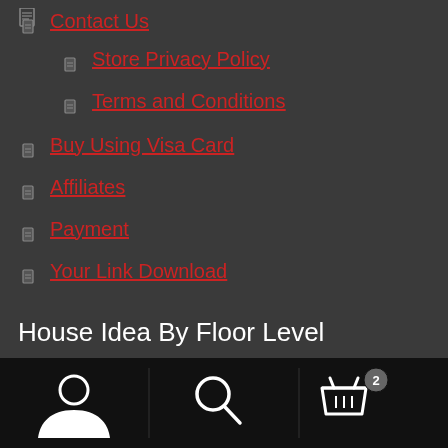Contact Us
Store Privacy Policy
Terms and Conditions
Buy Using Visa Card
Affiliates
Payment
Your Link Download
House Idea By Floor Level
[Figure (other): Bottom navigation bar with user icon, search icon, and cart icon with badge showing 2]